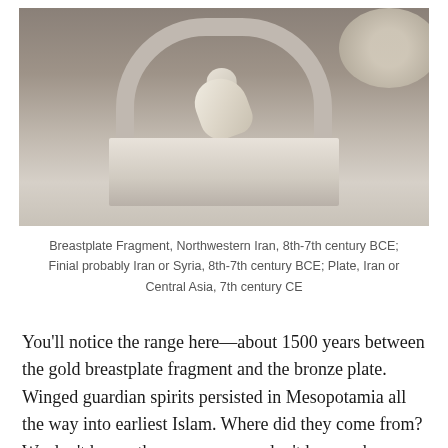[Figure (photo): Museum exhibition photo showing ancient artifacts on a white pedestal: a small animal or human head sculpture (breastplate fragment), set against an arched backdrop. A circular plate is partially visible at top right.]
Breastplate Fragment, Northwestern Iran, 8th-7th century BCE; Finial probably Iran or Syria, 8th-7th century BCE; Plate, Iran or Central Asia, 7th century CE
You'll notice the range here—about 1500 years between the gold breastplate fragment and the bronze plate. Winged guardian spirits persisted in Mesopotamia all the way into earliest Islam. Where did they come from? We don't know, the same way we don't know where Jinn originated—or Angels. We only know our domesticated, religion-ified